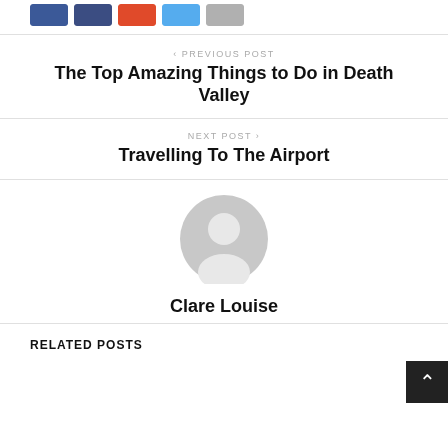[Figure (other): Social share buttons: blue Facebook, dark navy button, orange/red button, light blue Twitter button, gray button]
< PREVIOUS POST
The Top Amazing Things to Do in Death Valley
NEXT POST >
Travelling To The Airport
[Figure (photo): Generic user avatar - gray circle with silhouette of a person]
Clare Louise
RELATED POSTS